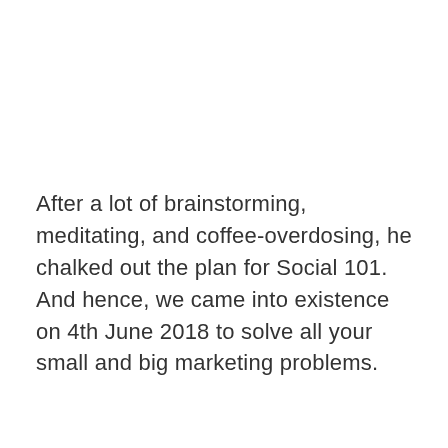After a lot of brainstorming, meditating, and coffee-overdosing, he chalked out the plan for Social 101. And hence, we came into existence on 4th June 2018 to solve all your small and big marketing problems.